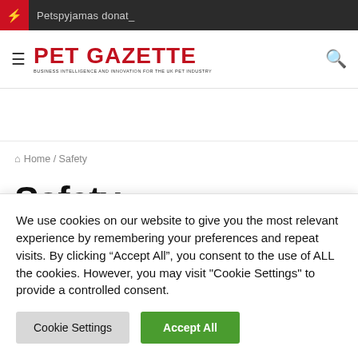Petspyjamas donat_
[Figure (logo): Pet Gazette logo with red text and tagline]
Home / Safety
Safety
We use cookies on our website to give you the most relevant experience by remembering your preferences and repeat visits. By clicking "Accept All", you consent to the use of ALL the cookies. However, you may visit "Cookie Settings" to provide a controlled consent.